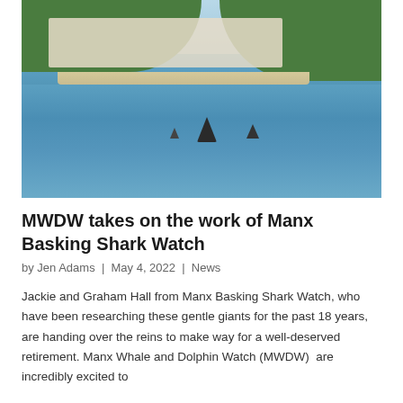[Figure (photo): Coastal scene showing a bay with buildings and green hillside in the background, and basking shark fins visible at the water surface in the foreground.]
MWDW takes on the work of Manx Basking Shark Watch
by Jen Adams | May 4, 2022 | News
Jackie and Graham Hall from Manx Basking Shark Watch, who have been researching these gentle giants for the past 18 years, are handing over the reins to make way for a well-deserved retirement. Manx Whale and Dolphin Watch (MWDW)  are incredibly excited to